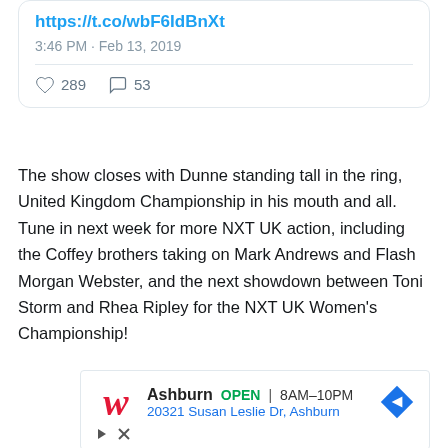https://t.co/wbF6IdBnXt
3:46 PM · Feb 13, 2019
♡ 289   💬 53
The show closes with Dunne standing tall in the ring, United Kingdom Championship in his mouth and all. Tune in next week for more NXT UK action, including the Coffey brothers taking on Mark Andrews and Flash Morgan Webster, and the next showdown between Toni Storm and Rhea Ripley for the NXT UK Women's Championship!
[Figure (screenshot): Walgreens advertisement showing Ashburn location OPEN 8AM-10PM at 20321 Susan Leslie Dr, Ashburn]